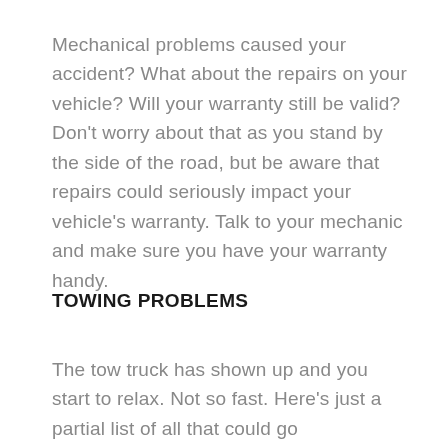Mechanical problems caused your accident? What about the repairs on your vehicle? Will your warranty still be valid? Don’t worry about that as you stand by the side of the road, but be aware that repairs could seriously impact your vehicle’s warranty. Talk to your mechanic and make sure you have your warranty handy.
TOWING PROBLEMS
The tow truck has shown up and you start to relax. Not so fast. Here’s just a partial list of all that could go